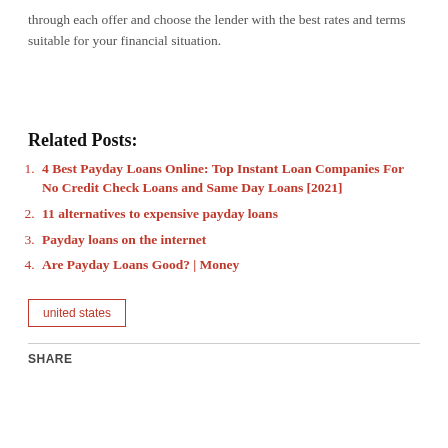through each offer and choose the lender with the best rates and terms suitable for your financial situation.
Related Posts:
4 Best Payday Loans Online: Top Instant Loan Companies For No Credit Check Loans and Same Day Loans [2021]
11 alternatives to expensive payday loans
Payday loans on the internet
Are Payday Loans Good? | Money
united states
SHARE